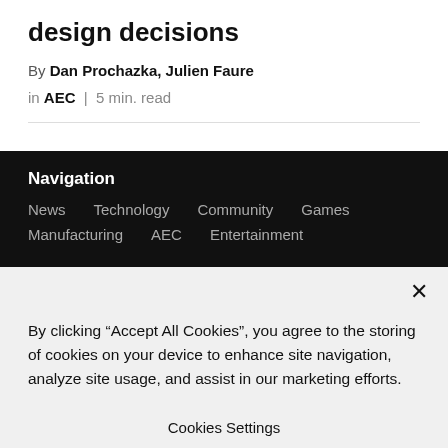design decisions
By Dan Prochazka, Julien Faure
in AEC | 5 min. read
Navigation
News
Technology
Community
Games
Manufacturing
AEC
Entertainment
By clicking “Accept All Cookies”, you agree to the storing of cookies on your device to enhance site navigation, analyze site usage, and assist in our marketing efforts.
Cookies Settings
Accept All Cookies